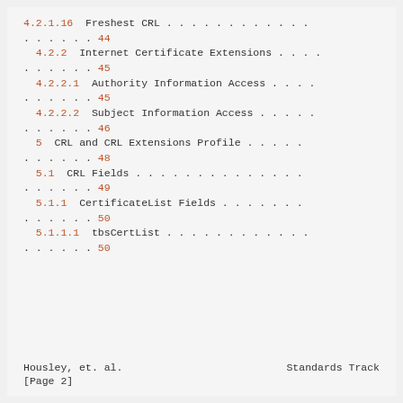4.2.1.16  Freshest CRL . . . . . . . . . . . . . . . . . . 44
4.2.2  Internet Certificate Extensions . . . . . . . . . . . 45
4.2.2.1  Authority Information Access . . . . . . . . . . . . 45
4.2.2.2  Subject Information Access . . . . . . . . . . . . . 46
5  CRL and CRL Extensions Profile . . . . . . . . . . . . . 48
5.1  CRL Fields . . . . . . . . . . . . . . . . . . . . . . 49
5.1.1  CertificateList Fields . . . . . . . . . . . . . . . 50
5.1.1.1  tbsCertList . . . . . . . . . . . . . . . . . . . . 50
Housley, et. al.          Standards Track
[Page 2]